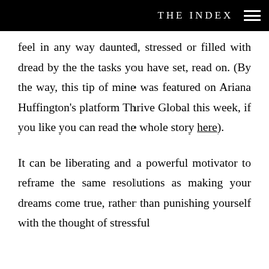THE INDEX
feel in any way daunted, stressed or filled with dread by the the tasks you have set, read on. (By the way, this tip of mine was featured on Ariana Huffington's platform Thrive Global this week, if you like you can read the whole story here).
It can be liberating and a powerful motivator to reframe the same resolutions as making your dreams come true, rather than punishing yourself with the thought of stressful